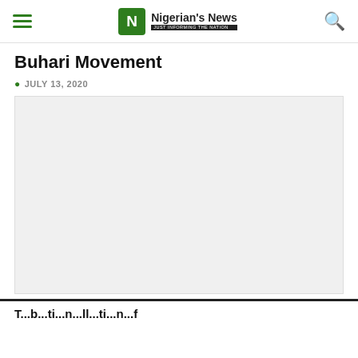Nigerian's News — JUST INFORMING THE NATION
Buhari Movement
JULY 13, 2020
[Figure (photo): Large light grey placeholder image area representing an embedded article photo]
Tc...bbi...ti...n...ll...ti...n...f